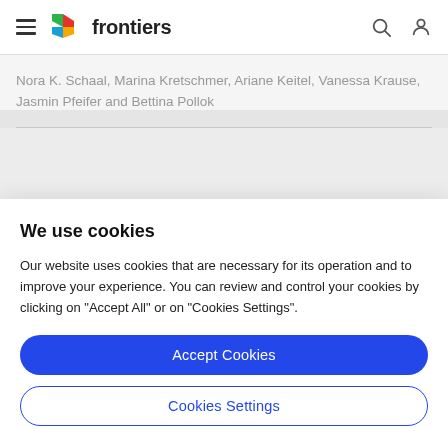frontiers
Nora K. Schaal, Marina Kretschmer, Ariane Keitel, Vanessa Krause, Jasmin Pfeifer and Bettina Pollok
We use cookies
Our website uses cookies that are necessary for its operation and to improve your experience. You can review and control your cookies by clicking on "Accept All" or on "Cookies Settings".
Accept Cookies
Cookies Settings